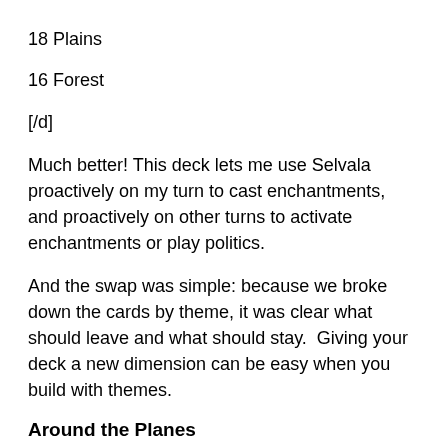18 Plains
16 Forest
[/d]
Much better!  This deck lets me use Selvala proactively on my turn to cast enchantments, and proactively on other turns to activate enchantments or play politics.
And the swap was simple: because we broke down the cards by theme, it was clear what should leave and what should stay.  Giving your deck a new dimension can be easy when you build with themes.
Around the Planes
Over on ChannelFireball, streamer Gaby Spartz wrote an